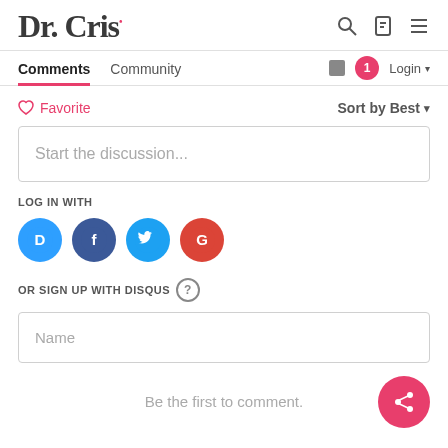Dr. Cris
Comments | Community | Login
Favorite | Sort by Best
Start the discussion...
LOG IN WITH
[Figure (other): Social login icons: Disqus (blue), Facebook (dark blue), Twitter (light blue), Google (red)]
OR SIGN UP WITH DISQUS ?
Name
Be the first to comment.